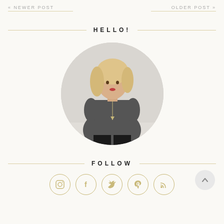« NEWER POST    OLDER POST »
HELLO!
[Figure (photo): Circular profile photo of a young blonde woman wearing a dark grey t-shirt and long necklace, standing against a light grey background.]
FOLLOW
[Figure (illustration): Row of social media icon circles: Instagram, Facebook, Twitter, Pinterest, RSS feed — rendered in gold/tan outline style.]